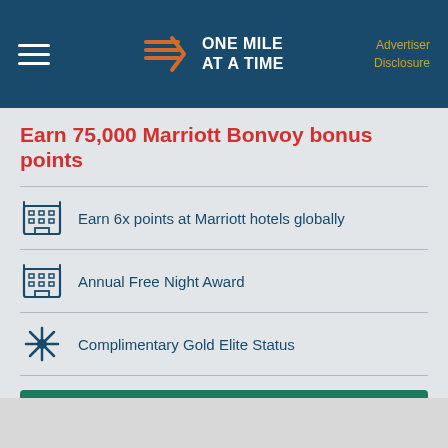ONE MILE AT A TIME | Advertiser Disclosure
Earn 75,000 Marriott Bonvoy bonus points
Earn 6x points at Marriott hotels globally
Annual Free Night Award
Complimentary Gold Elite Status
Apply Now
Securely with Amex | Terms Apply.
Learn More